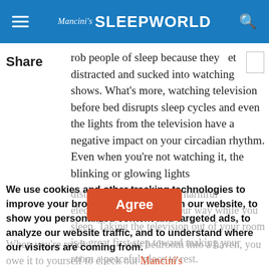Mancini's SLEEPWORLD
Share
rob people of sleep because they get distracted and sucked into watching shows. What's more, watching television before bed disrupts sleep cycles and even the lights from the television have a negative impact on your circadian rhythm. Even when you're not watching it, the blinking or glowing lights
disturb your rest, sending harmful electromagnetic forces your way while you sleep. Taking the television out of your room is a great first step toward making your room a peaceful place to rest.
We use cookies and other tracking technologies to improve your browsing experience on our website, to show you personalized content and targeted ads, to analyze our website traffic, and to understand where our visitors are coming from.
Agree
When you're ready to transform your bedroom into a haven, you owe it to yourself to check out Mancini's